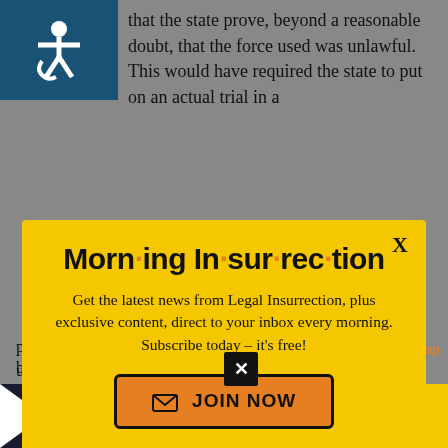that the state prove, beyond a reasonable doubt, that the force used was unlawful. This would have required the state to put on an actual trial in a
[Figure (infographic): Morning Insurrection newsletter popup with yellow background, bold title with orange dots, subscription text, and JOIN NOW button]
prosecution, but would have placed unfair burden upon witnesses.
[Figure (infographic): The Perspective advertisement banner: SEE WHAT YOU'RE MISSING, READ MORE button]
burden upon the criminal justice system